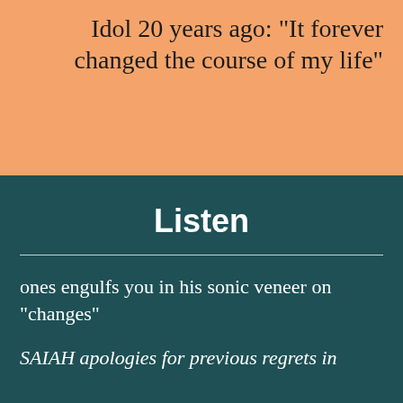Idol 20 years ago: "It forever changed the course of my life"
Listen
ones engulfs you in his sonic veneer on "changes"
SAIAH apologies for previous regrets in